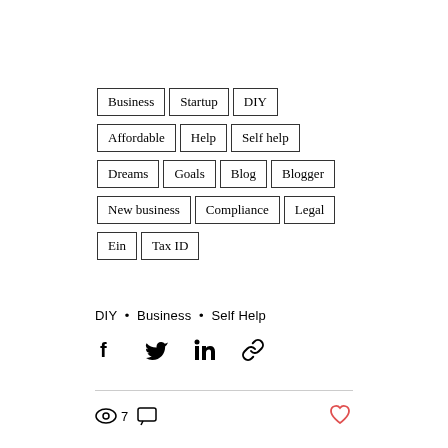Business
Startup
DIY
Affordable
Help
Self help
Dreams
Goals
Blog
Blogger
New business
Compliance
Legal
Ein
Tax ID
DIY  •  Business  •  Self Help
7
♡